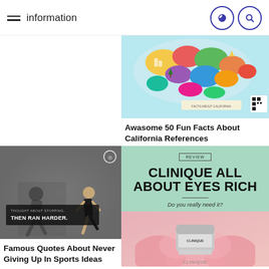information
[Figure (illustration): Colorful illustrated map of California with various icons and landmarks]
Awasome 50 Fun Facts About California References
[Figure (photo): Black and white photo of a runner with motivational text 'THOUGHT ABOUT STOPPING, THEN RAN HARDER.' overlaid]
Famous Quotes About Never Giving Up In Sports Ideas
[Figure (photo): Mint green card with REVIEW badge, bold text CLINIQUE ALL ABOUT EYES RICH, italic subtitle Do you really need it?, and product image of Clinique cream jar on pink petals]